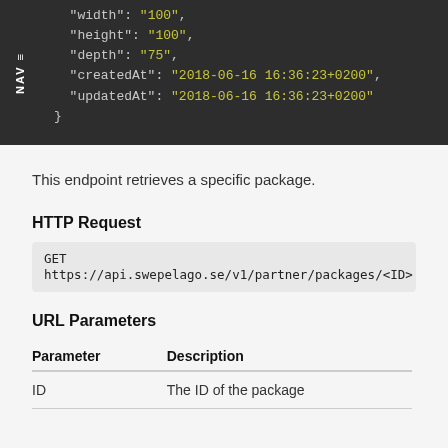[Figure (screenshot): Dark-themed code block showing JSON snippet with keys: width, height, depth, createdAt, updatedAt and closing brace. Nav bar on left side with 'NAV' text rotated vertically.]
This endpoint retrieves a specific package.
HTTP Request
GET https://api.swepelago.se/v1/partner/packages/<ID>
URL Parameters
| Parameter | Description |
| --- | --- |
| ID | The ID of the package |